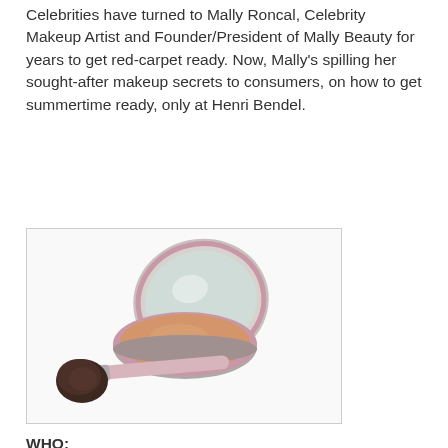Celebrities have turned to Mally Roncal, Celebrity Makeup Artist and Founder/President of Mally Beauty for years to get red-carpet ready. Now, Mally's spilling her sought-after makeup secrets to consumers, on how to get summertime ready, only at Henri Bendel.
[Figure (photo): A Mally Beauty compact powder case open, showing a mirror on the lid and a peach/tan pressed powder in the base, next to a pink-handled makeup brush with dark brown bristles, on a white background.]
WHO:
Mally Roncal, Celebrity Makeup Artist and Founder/President